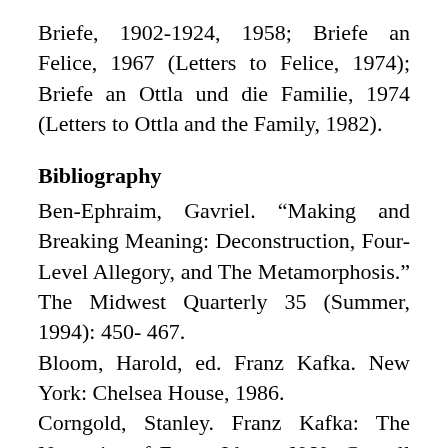Briefe, 1902-1924, 1958; Briefe an Felice, 1967 (Letters to Felice, 1974); Briefe an Ottla und die Familie, 1974 (Letters to Ottla and the Family, 1982).
Bibliography
Ben-Ephraim, Gavriel. “Making and Breaking Meaning: Deconstruction, Four-Level Allegory, and The Metamorphosis.” The Midwest Quarterly 35 (Summer, 1994): 450- 467.
Bloom, Harold, ed. Franz Kafka. New York: Chelsea House, 1986.
Corngold, Stanley. Franz Kafka: The Necessity of Form. Ithaca, N.Y.: Cornell University Press, 1988.